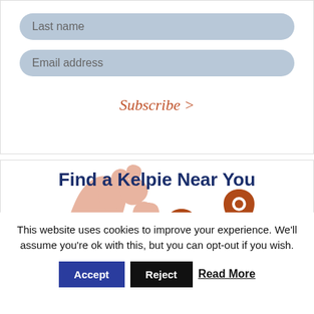Last name
Email address
Subscribe >
Find a Kelpie Near You
[Figure (map): Map of Scotland in light salmon/peach color with two orange location pin markers placed over central/eastern Scotland]
This website uses cookies to improve your experience. We'll assume you're ok with this, but you can opt-out if you wish.
Accept  Reject  Read More